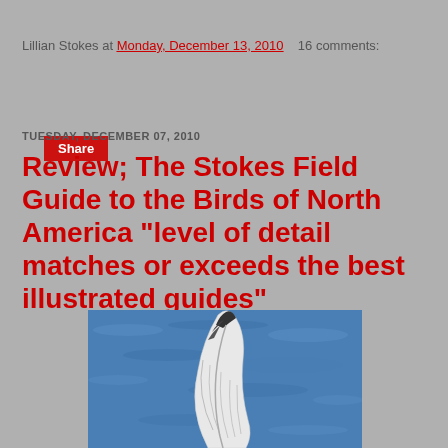Lillian Stokes at Monday, December 13, 2010   16 comments:
Share
TUESDAY, DECEMBER 07, 2010
Review; The Stokes Field Guide to the Birds of North America "level of detail matches or exceeds the best illustrated guides"
[Figure (photo): A seagull or large bird with wing raised upward against a blue water background, photographed from below/side showing white and grey wing feathers with dark wingtip.]